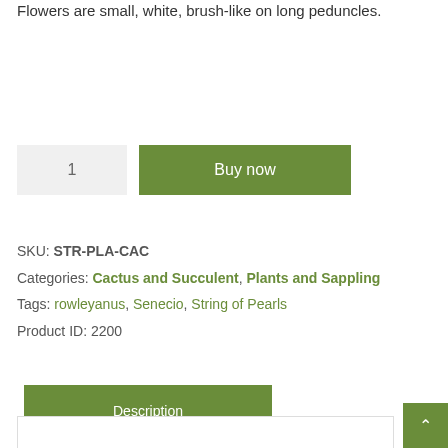Flowers are small, white, brush-like on long peduncles.
SKU: STR-PLA-CAC
Categories: Cactus and Succulent, Plants and Sappling
Tags: rowleyanus, Senecio, String of Pearls
Product ID: 2200
Description
Reviews (0)